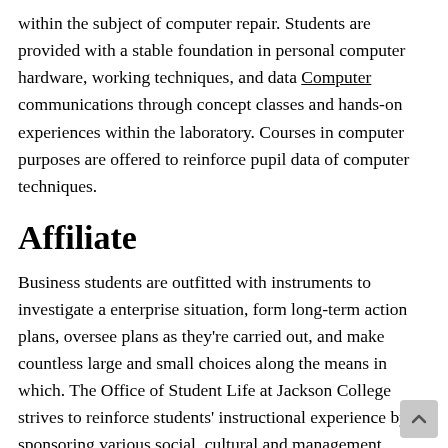within the subject of computer repair. Students are provided with a stable foundation in personal computer hardware, working techniques, and data Computer communications through concept classes and hands-on experiences within the laboratory. Courses in computer purposes are offered to reinforce pupil data of computer techniques.
Affiliate
Business students are outfitted with instruments to investigate a enterprise situation, form long-term action plans, oversee plans as they're carried out, and make countless large and small choices along the means in which. The Office of Student Life at Jackson College strives to reinforce students' instructional experience by sponsoring various social, cultural and management growth actions. We seek to promote active learning each inside and out of doors the classroom with an emphasis on building friendships and having fun.